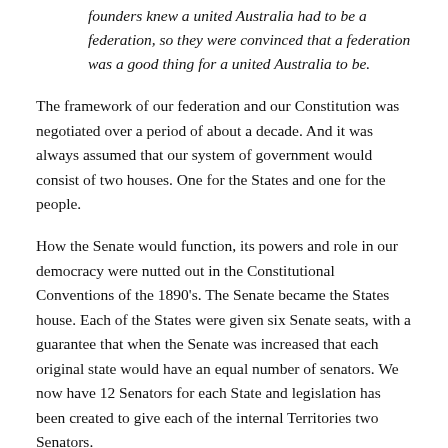founders knew a united Australia had to be a federation, so they were convinced that a federation was a good thing for a united Australia to be.
The framework of our federation and our Constitution was negotiated over a period of about a decade. And it was always assumed that our system of government would consist of two houses. One for the States and one for the people.
How the Senate would function, its powers and role in our democracy were nutted out in the Constitutional Conventions of the 1890's. The Senate became the States house. Each of the States were given six Senate seats, with a guarantee that when the Senate was increased that each original state would have an equal number of senators. We now have 12 Senators for each State and legislation has been created to give each of the internal Territories two Senators.
The Senate is an important aspect of our system of Government and the separation of powers principle that underlies it. We have an Executive, which is the Government